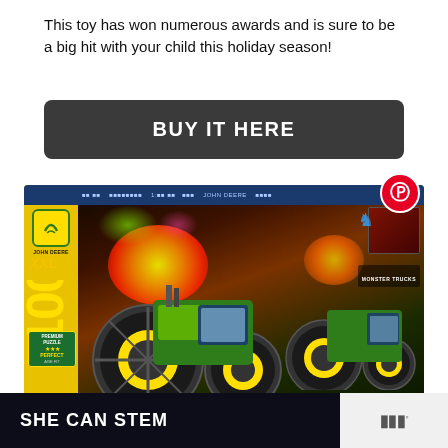This toy has won numerous awards and is sure to be a big hit with your child this holiday season!
BUY IT HERE
[Figure (photo): Ravensburger Puzzle box featuring John Deere Monster Trucks, 100 XXL pieces, age 6+, showing large green John Deere tractors with giant wheels in an arena with fireballs and small cars]
SHE CAN STEM